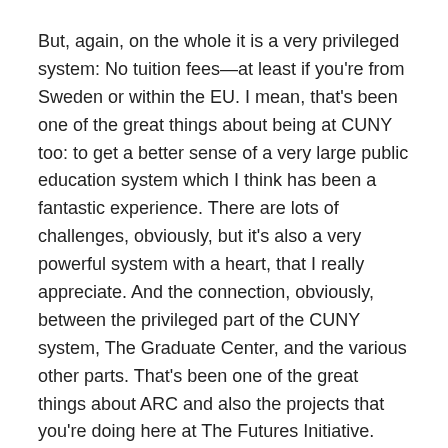But, again, on the whole it is a very privileged system: No tuition fees—at least if you're from Sweden or within the EU. I mean, that's been one of the great things about being at CUNY too: to get a better sense of a very large public education system which I think has been a fantastic experience. There are lots of challenges, obviously, but it's also a very powerful system with a heart, that I really appreciate. And the connection, obviously, between the privileged part of the CUNY system, The Graduate Center, and the various other parts. That's been one of the great things about ARC and also the projects that you're doing here at The Futures Initiative.
Another state system I know fairly well is the University of California, which I think is a fantastic system but also the risk, and we see that in many places in the US now, the risk with those great institutions, is when you reduce funding and you become more dependent on other sources of funding, etc.